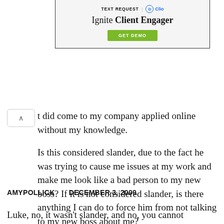[Figure (other): Advertisement banner for Text Request and Clio partnership. Headline: 'Ignite Client Engager', with a green 'GET DEMO' button.]
t did come to my company applied online without my knowledge.
Is this considered slander, due to the fact he was trying to cause me issues at my work and make me look like a bad person to my new boss? If it is not considered slander, is there anything I can do to force him from not talking to my new boss about me?
AMYPOLLICK     DECEMBER 3, 2009
Luke, no, it wasn't slander, and no, you cannot